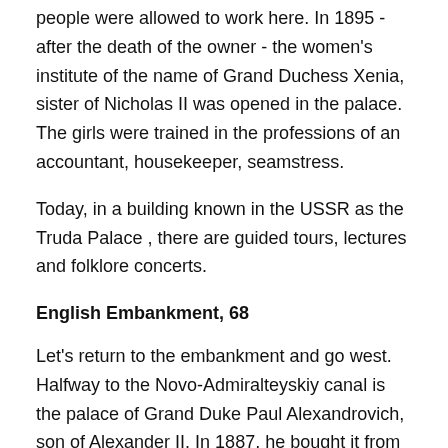people were allowed to work here. In 1895 - after the death of the owner - the women's institute of the name of Grand Duchess Xenia, sister of Nicholas II was opened in the palace. The girls were trained in the professions of an accountant, housekeeper, seamstress.
Today, in a building known in the USSR as the Truda Palace , there are guided tours, lectures and folklore concerts.
English Embankment, 68
Let's return to the embankment and go west. Halfway to the Novo-Admiralteyskiy canal is the palace of Grand Duke Paul Alexandrovich, son of Alexander II. In 1887, he bought it from the daughter of the late Baron Stieglitz, a well-known banker and philanthropist, whose name was established by the Academy of Arts and Industry. The